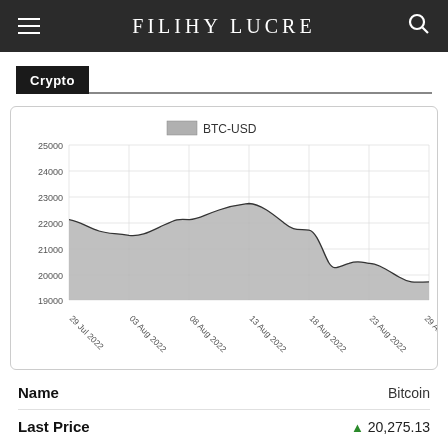FILIHY LUCRE
Crypto
[Figure (area-chart): BTC-USD]
| Name |  |
| --- | --- |
| Name | Bitcoin |
| Last Price | 20,275.13 |